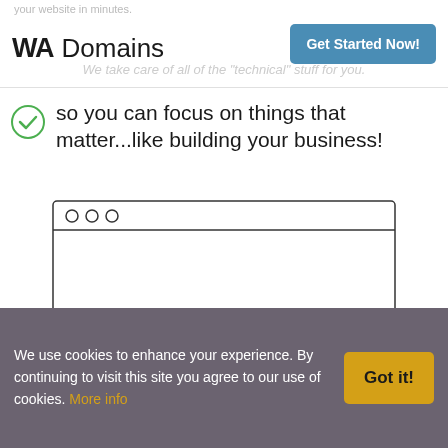WA Domains | Get Started Now!
so you can focus on things that matter...like building your business!
[Figure (screenshot): Browser window mockup with three circles in the top bar and a green-bordered START button with a cursor pointer in the content area]
We use cookies to enhance your experience. By continuing to visit this site you agree to our use of cookies. More info